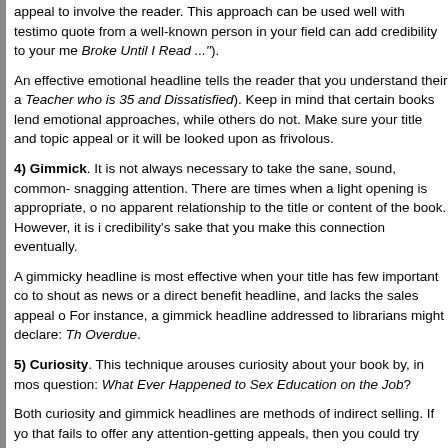appeal to involve the reader. This approach can be used well with testimonials. A quote from a well-known person in your field can add credibility to your message ("I Was Broke Until I Read ...").
An effective emotional headline tells the reader that you understand their angst (e.g., Teacher who is 35 and Dissatisfied). Keep in mind that certain books lend themselves to emotional approaches, while others do not. Make sure your title and topic support this appeal or it will be looked upon as frivolous.
4) Gimmick. It is not always necessary to take the sane, sound, common-sense approach to snagging attention. There are times when a light opening is appropriate, or one that seems to have no apparent relationship to the title or content of the book. However, it is important for credibility's sake that you make this connection eventually.
A gimmicky headline is most effective when your title has few important credentials to shout as news or a direct benefit headline, and lacks the sales appeal of an emotional appeal. For instance, a gimmick headline addressed to librarians might declare: The Book That Is Overdue.
5) Curiosity. This technique arouses curiosity about your book by, in most cases, asking a question: What Ever Happened to Sex Education on the Job?
Both curiosity and gimmick headlines are methods of indirect selling. If your book has a title that fails to offer any attention-getting appeals, then you could try these techniques. However, it is generally better to use a logical, believable approach to the reader's interest, rather than a straightforward presentation.
6) Directive. This type of headline is most useful when you wish to get immediate action from the reader. Directive headlines begin with words such as Go Now! or Call Today! and are better used when addressing your ultimate customers. On the other hand, they also work well with sales managers who are looking for quick sales: You Can ...